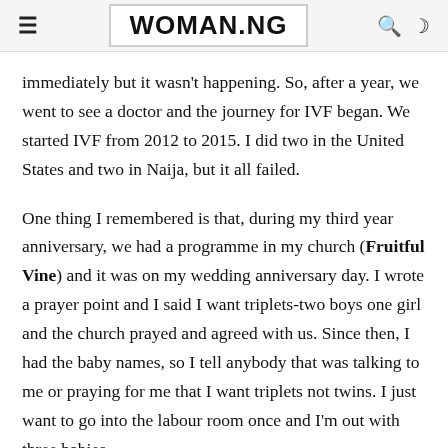WOMAN.NG
immediately but it wasn't happening. So, after a year, we went to see a doctor and the journey for IVF began. We started IVF from 2012 to 2015. I did two in the United States and two in Naija, but it all failed.
One thing I remembered is that, during my third year anniversary, we had a programme in my church (Fruitful Vine) and it was on my wedding anniversary day. I wrote a prayer point and I said I want triplets-two boys one girl and the church prayed and agreed with us. Since then, I had the baby names, so I tell anybody that was talking to me or praying for me that I want triplets not twins. I just want to go into the labour room once and I'm out with three babies.